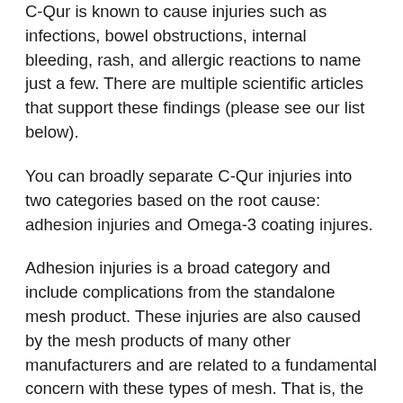C-Qur is known to cause injuries such as infections, bowel obstructions, internal bleeding, rash, and allergic reactions to name just a few. There are multiple scientific articles that support these findings (please see our list below).
You can broadly separate C-Qur injuries into two categories based on the root cause: adhesion injuries and Omega-3 coating injures.
Adhesion injuries is a broad category and include complications from the standalone mesh product. These injuries are also caused by the mesh products of many other manufacturers and are related to a fundamental concern with these types of mesh. That is, the human body is not designed to interact well with synthetic (plastic) mesh...